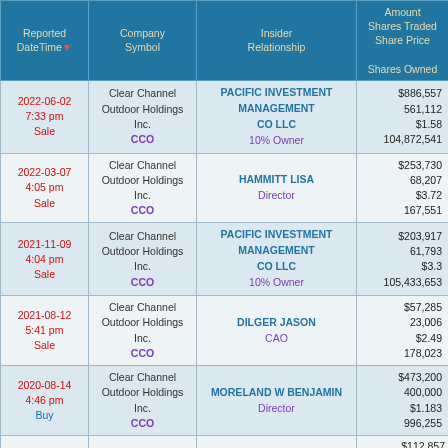| Reported DateTime▼ | Company Symbol | Insider Relationship | Amount
Shares Traded
Share Price
Shares Owned |
| --- | --- | --- | --- |
| 2022-06-02
7:33 pm
Sale | Clear Channel Outdoor Holdings Inc.
CCO | PACIFIC INVESTMENT MANAGEMENT CO LLC
10% Owner | $886,557
561,112
$1.58
104,872,541 |
| 2022-03-07
4:05 pm
Sale | Clear Channel Outdoor Holdings Inc.
CCO | HAMMITT LISA
Director | $253,730
68,207
$3.72
167,551 |
| 2021-11-09
4:04 pm
Sale | Clear Channel Outdoor Holdings Inc.
CCO | PACIFIC INVESTMENT MANAGEMENT CO LLC
10% Owner | $203,917
61,793
$3.3
105,433,653 |
| 2021-08-12
5:41 pm
Sale | Clear Channel Outdoor Holdings Inc.
CCO | DILGER JASON
CAO | $57,285
23,006
$2.49
178,023 |
| 2020-08-14
4:46 pm
Buy | Clear Channel Outdoor Holdings Inc.
CCO | MORELAND W BENJAMIN
Director | $473,200
400,000
$1.183
996,255 |
|  |  |  | $112,857 |